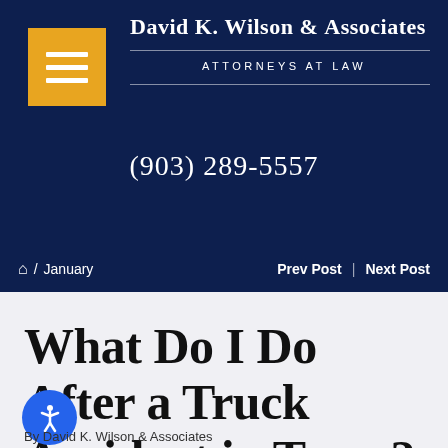David K. Wilson & Associates — ATTORNEYS AT LAW — (903) 289-5557
🏠 / January   Prev Post | Next Post
What Do I Do After a Truck Accident in Texas?